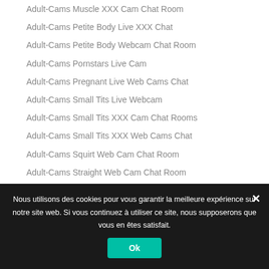Adult-Cams Muscle XXX Cam Chat Room
Adult-Cams Petite Body Live XXX Chat
Adult-Cams Petite Body Webcam Chat Room
Adult-Cams Pornstars Live Cam
Adult-Cams Pregnant Live Web Cams Chat
Adult-Cams Small Tits Live Webcam
Adult-Cams Small Tits XXX Cam Chat Rooms
Adult-Cams Small Tits XXX Web Cams Chat
Adult-Cams Squirt Web Cam Chat Room
Adult-Cams Straight Web Cam Chat Room
Adult-Cams TRANS Live XXX Videos
Nous utilisons des cookies pour vous garantir la meilleure expérience sur notre site web. Si vous continuez à utiliser ce site, nous supposerons que vous en êtes satisfait.
Ok